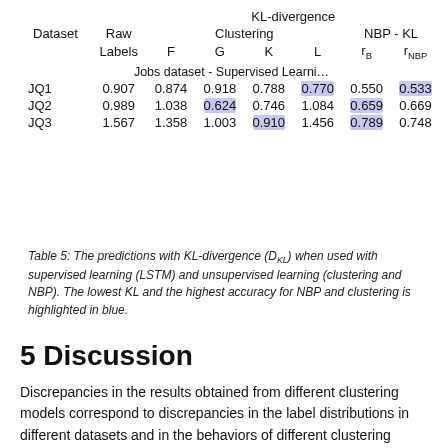| Dataset | Raw Labels | F | G | K | L | rB | rNBP |
| --- | --- | --- | --- | --- | --- | --- | --- |
| JQ1 | 0.907 | 0.874 | 0.918 | 0.788 | 0.770 | 0.550 | 0.533 |
| JQ2 | 0.989 | 1.038 | 0.624 | 0.746 | 1.084 | 0.659 | 0.669 |
| JQ3 | 1.567 | 1.358 | 1.003 | 0.910 | 1.456 | 0.789 | 0.748 |
Table 5: The predictions with KL-divergence (DKL) when used with supervised learning (LSTM) and unsupervised learning (clustering and NBP). The lowest KL and the highest accuracy for NBP and clustering is highlighted in blue.
5 Discussion
Discrepancies in the results obtained from different clustering models correspond to discrepancies in the label distributions in different datasets and in the behaviors of different clustering models. For instance, the label distributions in the jobs dataset (Figure 10